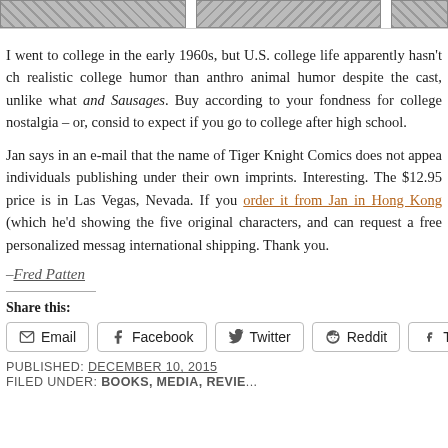[Figure (illustration): Strip of comic/illustration image thumbnails at the top of the page]
I went to college in the early 1960s, but U.S. college life apparently hasn't ch realistic college humor than anthro animal humor despite the cast, unlike what and Sausages. Buy according to your fondness for college nostalgia – or, consid to expect if you go to college after high school.
Jan says in an e-mail that the name of Tiger Knight Comics does not appea individuals publishing under their own imprints. Interesting. The $12.95 price is in Las Vegas, Nevada. If you order it from Jan in Hong Kong (which he'd showing the five original characters, and can request a free personalized messag international shipping. Thank you.
–Fred Patten
Share this:
Email  Facebook  Twitter  Reddit  Tum
PUBLISHED: December 10, 2015
FILED UNDER: Books, Media, Revie...